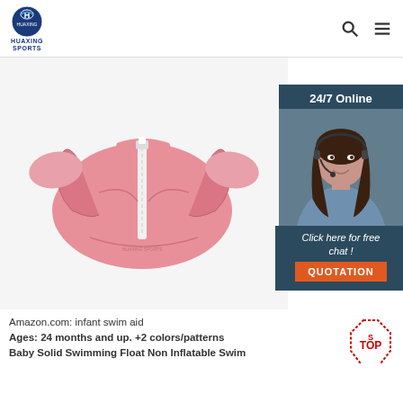HUAXING SPORTS
[Figure (photo): Pink baby swimming float jacket/vest product photo on white background]
[Figure (infographic): 24/7 Online chat widget with woman wearing headset, 'Click here for free chat!' text, and orange QUOTATION button]
Amazon.com: infant swim aid Ages: 24 months and up. +2 colors/patterns Baby Solid Swimming Float Non Inflatable Swim Rings, Float Infant Swim Trainer Underarm Aid Waist Relaxing, Pool Floats for Kids Toddlers of 3 Months-4 Years, Safe Swim Training for Pool...